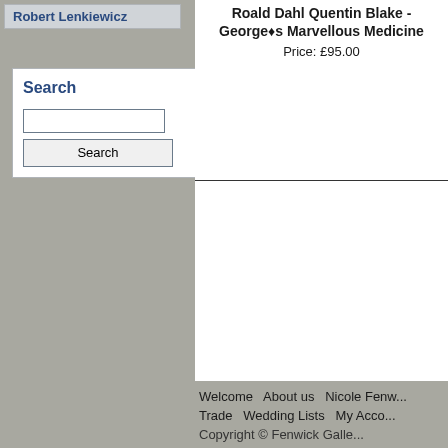Robert Lenkiewicz
Search
Search
Roald Dahl Quentin Blake - George's Marvellous Medicine
Price: £95.00
Welcome  About us  Nicole Fenw...  Trade  Wedding Lists  My Acco...  Copyright © Fenwick Galle...